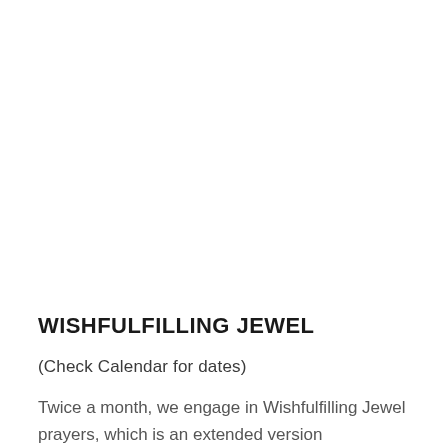WISHFULFILLING JEWEL
(Check Calendar for dates)
Twice a month, we engage in Wishfulfilling Jewel prayers, which is an extended version